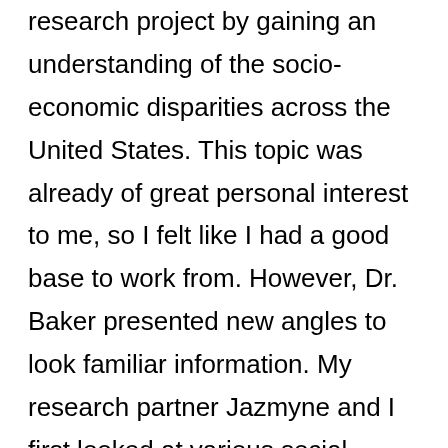research project by gaining an understanding of the socio-economic disparities across the United States. This topic was already of great personal interest to me, so I felt like I had a good base to work from. However, Dr. Baker presented new angles to look familiar information. My research partner Jazmyne and I first looked at various social media and news platforms to assess current public sentiments on gender economic inequality. We found that in recent years most of these platforms discussed mainly the wage gap. Although this is a prominent issue, I felt that there was a lack of comprehensive information about greater gender